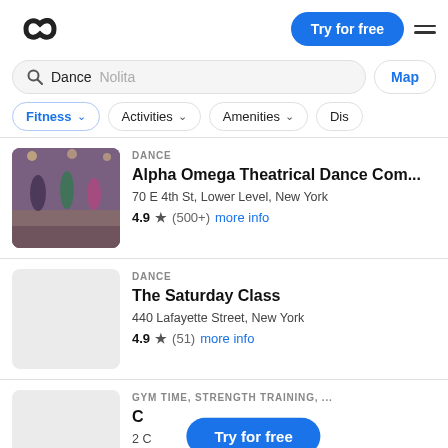[Figure (logo): Classbento/ClassPass style infinity-link logo in dark color]
Try for free
Dance  Nolita
Map
Fitness ∨
Activities ∨
Amenities ∨
Dis
DANCE
Alpha Omega Theatrical Dance Com...
70 E 4th St, Lower Level, New York
4.9 ★ (500+)  more info
DANCE
The Saturday Class
440 Lafayette Street, New York
4.9 ★ (51)  more info
GYM TIME, STRENGTH TRAINING, ...
C...
2 C... ork
4.7 ★ (7500+)  more info
Try for free